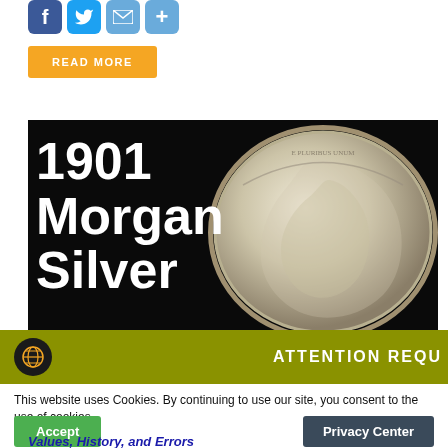[Figure (illustration): Social media sharing icons: Facebook (blue), Twitter (light blue), Email (light blue), Plus/share (light blue)]
READ MORE
[Figure (photo): 1901 Morgan Silver coin image on black background — large white bold text '1901 Morgan Silver' on left, silver coin showing Lady Liberty profile on right]
ATTENTION REQU
This website uses Cookies. By continuing to use our site, you consent to the use of cookies.
Accept
Privacy Center
Values, History, and Errors